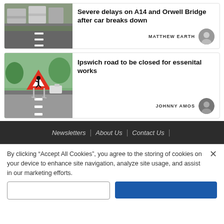[Figure (photo): Trucks and heavy vehicles on a highway, traffic jam, rainy/overcast conditions]
Severe delays on A14 and Orwell Bridge after car breaks down
MATTHEW EARTH
[Figure (photo): Road with a triangular red and white roadworks warning sign showing a worker digging, with traffic behind it and trees in background]
Ipswich road to be closed for essenital works
JOHNNY AMOS
Newsletters | About Us | Contact Us |
By clicking “Accept All Cookies”, you agree to the storing of cookies on your device to enhance site navigation, analyze site usage, and assist in our marketing efforts.